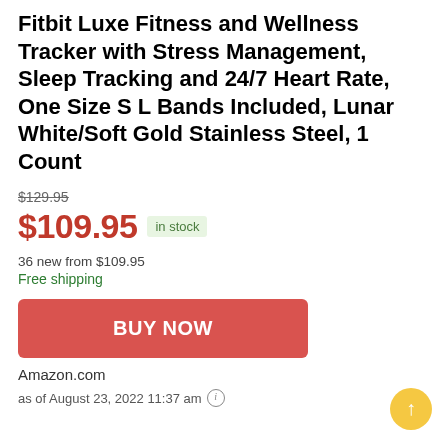Fitbit Luxe Fitness and Wellness Tracker with Stress Management, Sleep Tracking and 24/7 Heart Rate, One Size S L Bands Included, Lunar White/Soft Gold Stainless Steel, 1 Count
$129.95 (strikethrough original price)
$109.95 in stock
36 new from $109.95
Free shipping
BUY NOW
Amazon.com
as of August 23, 2022 11:37 am